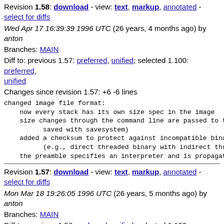Revision 1.58: download - view: text, markup, annotated - select for diffs
Wed Apr 17 16:39:39 1996 UTC (26 years, 4 months ago) by anton
Branches: MAIN
Diff to: previous 1.57: preferred, unified; selected 1.100: preferred, unified
Changes since revision 1.57: +6 -6 lines
changed image file format:
    now every stack has its own size spec in the image
    size changes through the command line are passed to th
          saved with savesystem)
    added a checksum to protect against incompatible binar
          (e.g., direct threaded binary with indirect threa
    the preamble specifies an interpreter and is propagate
Revision 1.57: download - view: text, markup, annotated - select for diffs
Mon Mar 18 19:26:05 1996 UTC (26 years, 5 months ago) by anton
Branches: MAIN
Diff to: previous 1.56: preferred, unified; selected 1.100: preferred, unified
Changes since revision 1.56: +1 -1 lines
minor changes